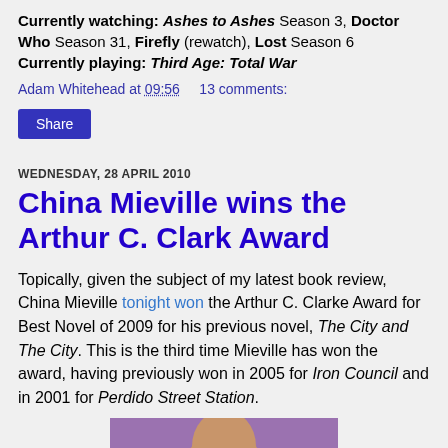Currently watching: Ashes to Ashes Season 3, Doctor Who Season 31, Firefly (rewatch), Lost Season 6
Currently playing: Third Age: Total War
Adam Whitehead at 09:56    13 comments:
Share
WEDNESDAY, 28 APRIL 2010
China Mieville wins the Arthur C. Clark Award
Topically, given the subject of my latest book review, China Mieville tonight won the Arthur C. Clarke Award for Best Novel of 2009 for his previous novel, The City and The City. This is the third time Mieville has won the award, having previously won in 2005 for Iron Council and in 2001 for Perdido Street Station.
[Figure (photo): Photo of a bald man against a purple background, partially visible (head and shoulders)]